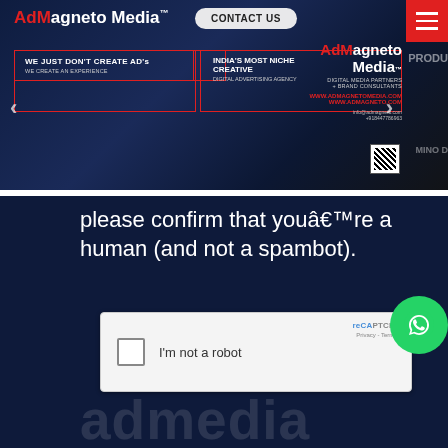[Figure (screenshot): AdMagneto Media website header/banner with dark background, crowd image, logo, CONTACT US button, hamburger menu, tagline boxes, and right-side brand information]
please confirm that youâ€™re a human (and not a spambot).
[Figure (screenshot): reCAPTCHA widget with checkbox and 'I'm not a robot' label, reCA Privacy - Terms branding on the right]
[Figure (other): WhatsApp contact button (green circle with phone icon)]